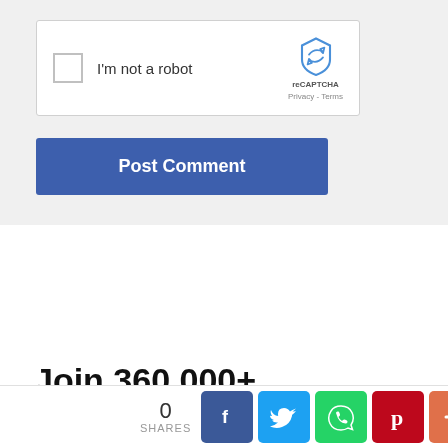[Figure (screenshot): reCAPTCHA widget with checkbox labeled 'I'm not a robot' and reCAPTCHA logo with Privacy and Terms links]
Post Comment
Join 360,000+ Followers
0 SHARES
[Figure (infographic): Social share buttons: Facebook, Twitter, WhatsApp, Pinterest, Plus]